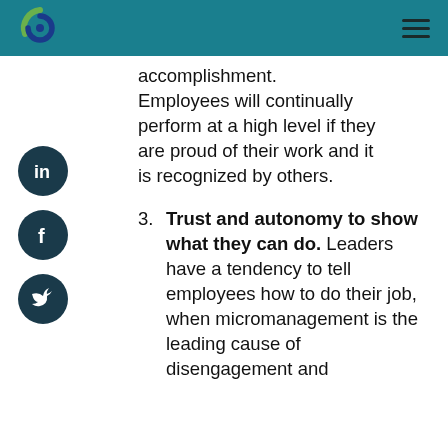accomplishment. Employees will continually perform at a high level if they are proud of their work and it is recognized by others.
3. Trust and autonomy to show what they can do. Leaders have a tendency to tell employees how to do their job, when micromanagement is the leading cause of disengagement and disconnect. Effective...